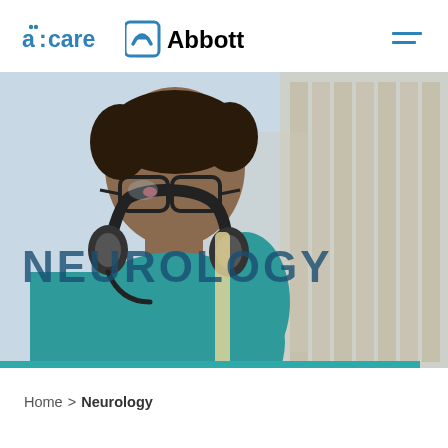[Figure (logo): a:care and Abbott logos with hamburger menu icon in the page header]
[Figure (photo): Hero banner showing a young man with glasses and headphones around his neck wearing a teal shirt, looking down, with 'NEUROLOGY' text overlaid and a teal bar at the bottom]
Home > Neurology